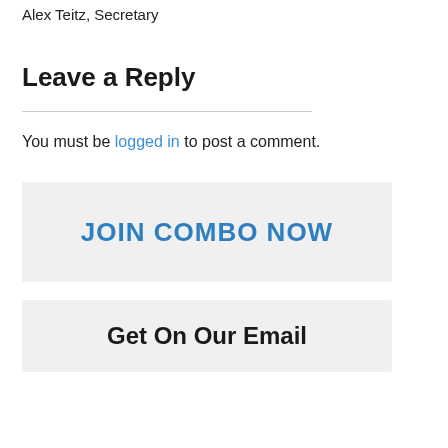Alex Teitz, Secretary
Leave a Reply
You must be logged in to post a comment.
JOIN COMBO NOW
Get On Our Email